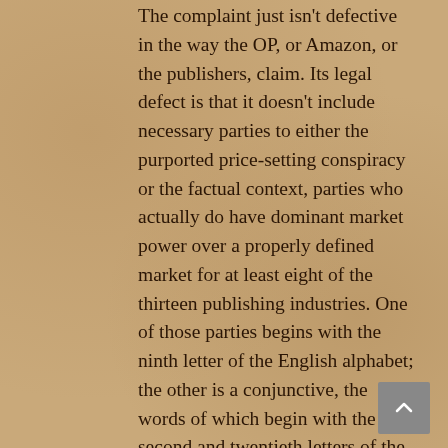The complaint just isn't defective in the way the OP, or Amazon, or the publishers, claim. Its legal defect is that it doesn't include necessary parties to either the purported price-setting conspiracy or the factual context, parties who actually do have dominant market power over a properly defined market for at least eight of the thirteen publishing industries. One of those parties begins with the ninth letter of the English alphabet; the other is a conjunctive, the words of which begin with the second and twentieth letters of the English alphabets. That is, this is not properly a motion to dismiss under Fed. R. Civ. Proc. 12(b)(6), but instead a motion to dismiss for failure to join required parties under R. 19, and/or for judgment on the pleadings under R. 12(c), and/or for summary judgment under R. 56.